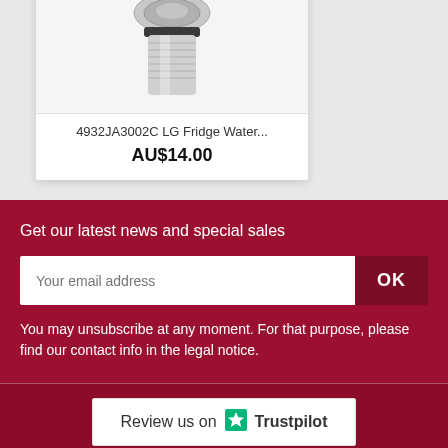[Figure (photo): Product image of a metal fridge water fitting/connector (silver metallic part with threaded end)]
4932JA3002C LG Fridge Water...
AU$14.00
Get our latest news and special sales
Your email address
OK
You may unsubscribe at any moment. For that purpose, please find our contact info in the legal notice.
[Figure (logo): Trustpilot logo with green star — Review us on Trustpilot]